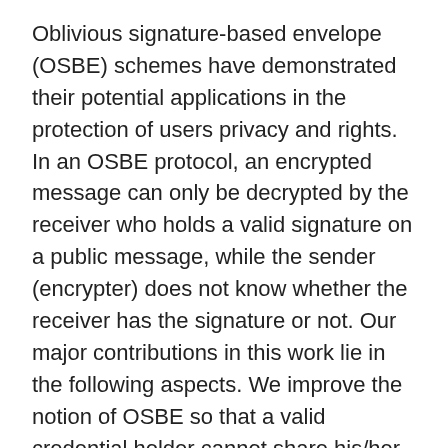Oblivious signature-based envelope (OSBE) schemes have demonstrated their potential applications in the protection of users privacy and rights. In an OSBE protocol, an encrypted message can only be decrypted by the receiver who holds a valid signature on a public message, while the sender (encrypter) does not know whether the receiver has the signature or not. Our major contributions in this work lie in the following aspects. We improve the notion of OSBE so that a valid credential holder cannot share his/her credential with other users (i. e., all-or-nothing non-transferability). We clarify the relationship between one-round OSBE and identity-based encryption (IBE) and show that one-round OSBE and semantically secure IBE against the adaptively chosen identity attack (IND-ID-CPA) are equivalently, if the signature in the OSBE scheme is existentially unforgeable